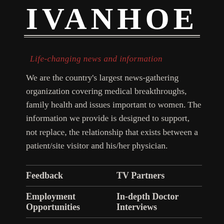IVANHOE
Life-changing news and information
We are the country's largest news-gathering organization covering medical breakthroughs, family health and issues important to women. The information we provide is designed to support, not replace, the relationship that exists between a patient/site visitor and his/her physician.
Feedback
TV Partners
Employment Opportunities
In-depth Doctor Interviews